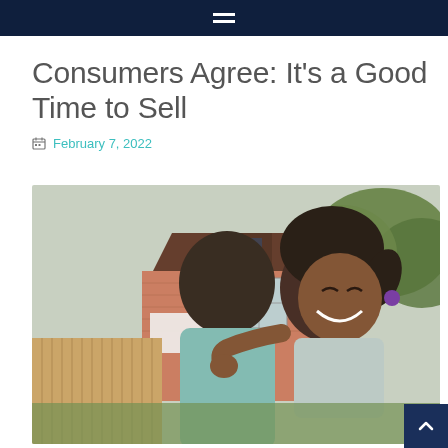Navigation bar with hamburger menu
Consumers Agree: It's a Good Time to Sell
February 7, 2022
[Figure (photo): A smiling young Black girl hugging an adult, with a brick house and wooden fence visible in the background outdoors.]